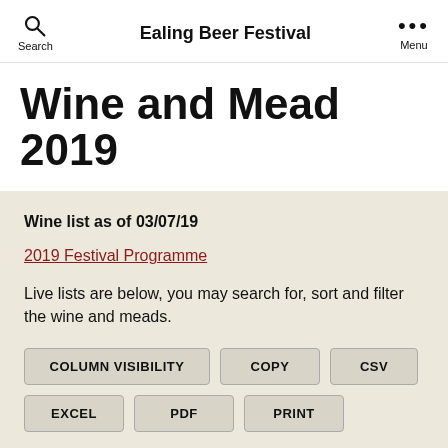Search  Ealing Beer Festival  Menu
Wine and Mead 2019
Wine list as of 03/07/19
2019 Festival Programme
Live lists are below, you may search for, sort and filter the wine and meads.
COLUMN VISIBILITY  COPY  CSV  EXCEL  PDF  PRINT